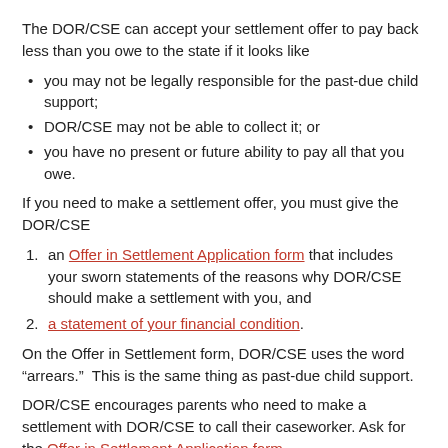The DOR/CSE can accept your settlement offer to pay back less than you owe to the state if it looks like
you may not be legally responsible for the past-due child support;
DOR/CSE may not be able to collect it; or
you have no present or future ability to pay all that you owe.
If you need to make a settlement offer, you must give the DOR/CSE
an Offer in Settlement Application form that includes your sworn statements of the reasons why DOR/CSE should make a settlement with you, and
a statement of your financial condition.
On the Offer in Settlement form, DOR/CSE uses the word “arrears.”  This is the same thing as past-due child support.
DOR/CSE encourages parents who need to make a settlement with DOR/CSE to call their caseworker. Ask for the Offer in Settlement Application form.
DOR/CSE provides interpreters for phone calls with caseworkers.